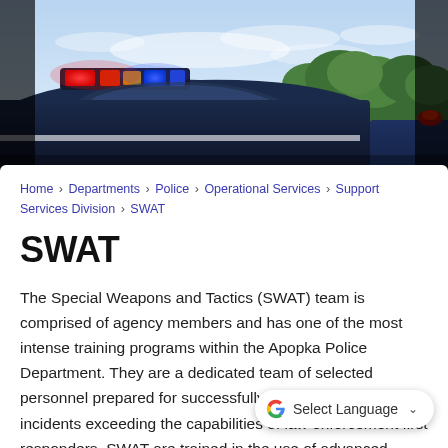[Figure (photo): Police car with red and blue lights on top against a sky with trees in the background. The car's roof lights are illuminated.]
Home › Departments › Police › Operational Services › Support Services Division › SWAT
SWAT
The Special Weapons and Tactics (SWAT) team is comprised of agency members and has one of the most intense training programs within the Apopka Police Department. They are a dedicated team of selected personnel prepared for successfully resolving critical incidents exceeding the capabilities of law enforcement first responders. SWAT are trained in the use of advanced tactics and